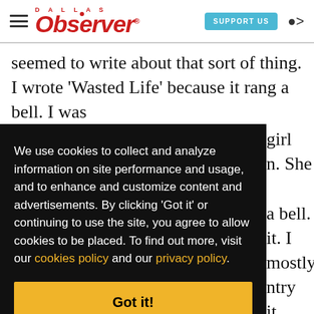Dallas Observer — SUPPORT US — user icon
seemed to write about that sort of thing. I wrote 'Wasted Life' because it rang a bell. I was
We use cookies to collect and analyze information on site performance and usage, and to enhance and customize content and advertisements. By clicking 'Got it' or continuing to use the site, you agree to allow cookies to be placed. To find out more, visit our cookies policy and our privacy policy.
Got it!
girl h. She a bell. it. I mostly ntry it boys ther.